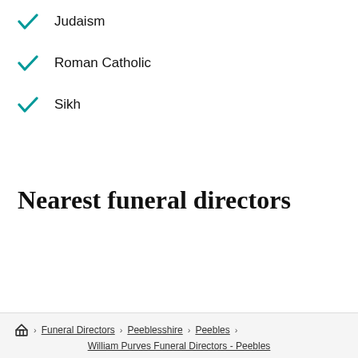✓ Judaism
✓ Roman Catholic
✓ Sikh
Nearest funeral directors
Home > Funeral Directors > Peeblesshire > Peebles > William Purves Funeral Directors - Peebles